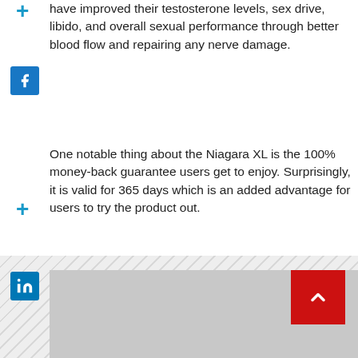have improved their testosterone levels, sex drive, libido, and overall sexual performance through better blood flow and repairing any nerve damage.
One notable thing about the Niagara XL is the 100% money-back guarantee users get to enjoy. Surprisingly, it is valid for 365 days which is an added advantage for users to try the product out.
No hidden charges and you don't have to be skeptical about trying out the supplement today as you are not risking yourself with anything.
[Figure (other): Bottom banner area with diagonal hatching pattern, grey rectangle, and red scroll-to-top button with up arrow. LinkedIn icon on left sidebar.]